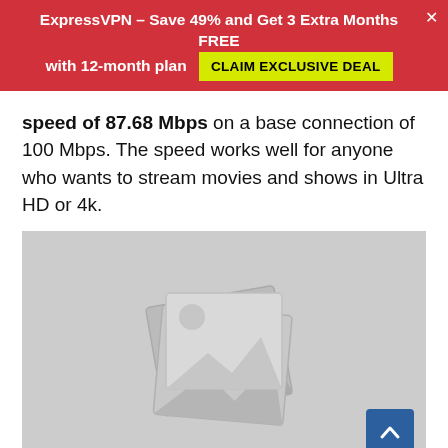ExpressVPN – Save 49% and Get 3 Extra Months FREE with 12-month plan CLAIM EXCLUSIVE DEAL
speed of 87.68 Mbps on a base connection of 100 Mbps. The speed works well for anyone who wants to stream movies and shows in Ultra HD or 4k.
[Figure (photo): Placeholder image with broken image icon (stacked photo cards graphic on gray background) with a blue scroll-to-top button in the bottom right corner.]